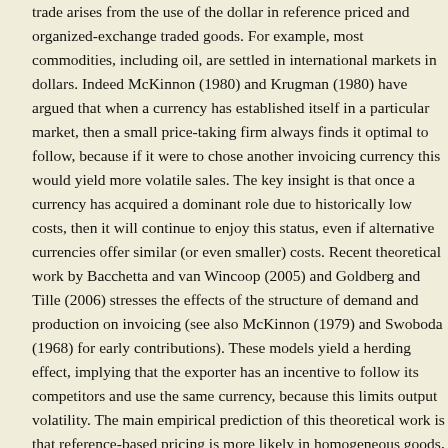trade arises from the use of the dollar in reference priced and organized-exchange traded goods. For example, most commodities, including oil, are settled in international markets in dollars. Indeed McKinnon (1980) and Krugman (1980) have argued that when a currency has established itself in a particular market, then a small price-taking firm always finds it optimal to follow, because if it were to chose another invoicing currency this would yield more volatile sales. The key insight is that once a currency has acquired a dominant role due to historically low costs, then it will continue to enjoy this status, even if alternative currencies offer similar (or even smaller) costs. Recent theoretical work by Bacchetta and van Wincoop (2005) and Goldberg and Tille (2006) stresses the effects of the structure of demand and production on invoicing (see also McKinnon (1979) and Swoboda (1968) for early contributions). These models yield a herding effect, implying that the exporter has an incentive to follow its competitors and use the same currency, because this limits output volatility. The main empirical prediction of this theoretical work is that reference-based pricing is more likely in homogeneous goods, such as oil, gold, and basic commodities. The intuition is simple. If a firm produces and sells differentiated goods, then it faces (the usual) downward-sloping demand curve and thus can choose to index sales in the currency of the exporter. When the good is homogeneous, the producer is typically a price taker and thus will use the currency that the good is habitually traded in, because failing to do so